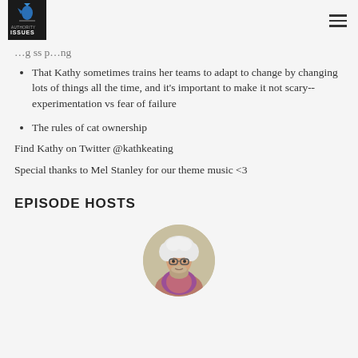Authority Issues (logo) | Navigation menu
…g ss p…ng
That Kathy sometimes trains her teams to adapt to change by changing lots of things all the time, and it's important to make it not scary--experimentation vs fear of failure
The rules of cat ownership
Find Kathy on Twitter @kathkeating
Special thanks to Mel Stanley for our theme music <3
EPISODE HOSTS
[Figure (photo): Circular cropped photo of a person with curly white/light hair and glasses, wearing a colorful top, appearing to be a podcast host]